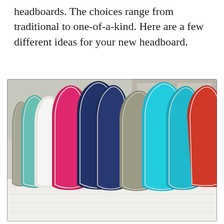headboards. The choices range from traditional to one-of-a-kind. Here are a few different ideas for your new headboard.
[Figure (photo): A row of colorful cushion-style headboards leaning against a wall on a white bed. Colors include teal, white, hot pink, navy, gray/khaki, turquoise, and red/orange, each with white piping trim.]